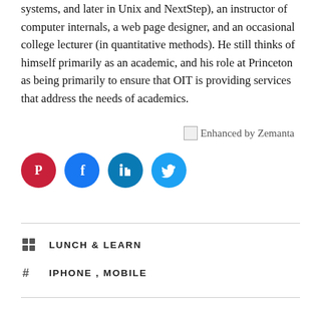systems, and later in Unix and NextStep), an instructor of computer internals, a web page designer, and an occasional college lecturer (in quantitative methods). He still thinks of himself primarily as an academic, and his role at Princeton as being primarily to ensure that OIT is providing services that address the needs of academics.
[Figure (illustration): Enhanced by Zemanta badge/image placeholder with broken image icon and text]
[Figure (infographic): Four social sharing icon circles: Pinterest (red), Facebook (blue), LinkedIn (teal-blue), Twitter (light blue)]
LUNCH & LEARN
IPHONE , MOBILE